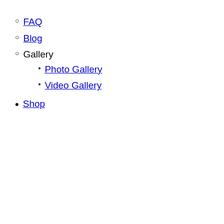FAQ
Blog
Gallery
Photo Gallery
Video Gallery
Shop